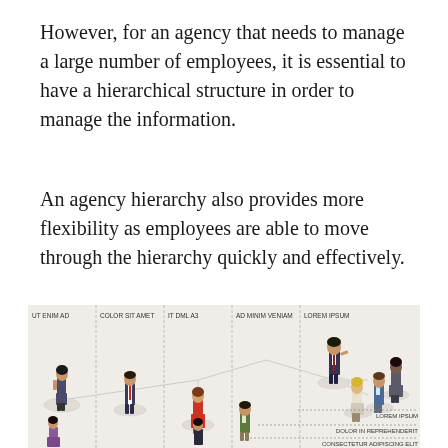However, for an agency that needs to manage a large number of employees, it is essential to have a hierarchical structure in order to manage the information.
An agency hierarchy also provides more flexibility as employees are able to move through the hierarchy quickly and effectively.
[Figure (organizational-chart): An isometric-style organizational chart showing multiple employees at different hierarchy levels arranged in columns labeled: UT ENIM AD, COLOR SIT AMET, IT DML A3, AD MINIM VENIAM, LOREM IPSUM. Figures of people stand on circular platforms connected by lines. A legend on the right shows: LOREM IPSUM, DOLOR IN REPREHENDERIT, CONSECTETUR ADIPISCING ELIT.]